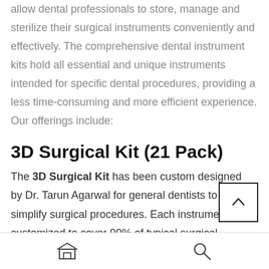allow dental professionals to store, manage and sterilize their surgical instruments conveniently and effectively. The comprehensive dental instrument kits hold all essential and unique instruments intended for specific dental procedures, providing a less time-consuming and more efficient experience. Our offerings include:
3D Surgical Kit (21 Pack)
The 3D Surgical Kit has been custom designed by Dr. Tarun Agarwal for general dentists to simplify surgical procedures. Each instrument is customized to cover 90% of typical surgical procedures in a general dental practice. The kit has all the right instruments to grow with your surgical practice over time.
store icon, search icon